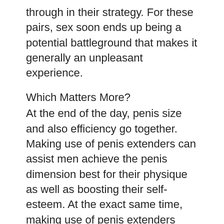through in their strategy. For these pairs, sex soon ends up being a potential battleground that makes it generally an unpleasant experience.
Which Matters More?
At the end of the day, penis size and also efficiency go together. Making use of penis extenders can assist men achieve the penis dimension best for their physique as well as boosting their self-esteem. At the exact same time, making use of penis extenders also forces a guy to focus on his entire sexual performance. By combining his efforts to enhance his physicality as well as technique, men can truly transform their sex life around. Penis extenders aren't the response– they are simply one component of the answer. At the end of the day, dimension is absolutely nothing without method. So, because means, method is more important. Yet that does not imply penis size ought to be disregarded.